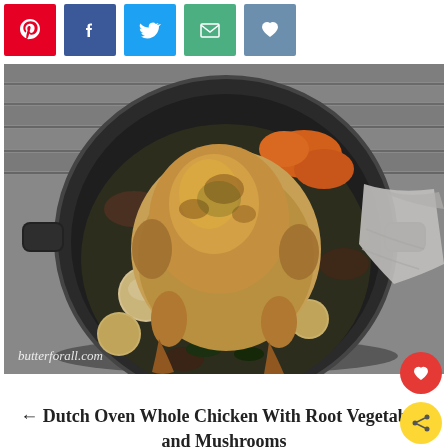[Figure (other): Social sharing buttons: Pinterest (red), Facebook (blue), Twitter (light blue), Email (green), Heart/Save (blue-grey)]
[Figure (photo): Top-down photo of a whole roasted chicken in a black Dutch oven/cast iron pan surrounded by root vegetables and mushrooms, on a grey wood surface. Watermark reads butterforall.com]
← Dutch Oven Whole Chicken With Root Vegetables and Mushrooms